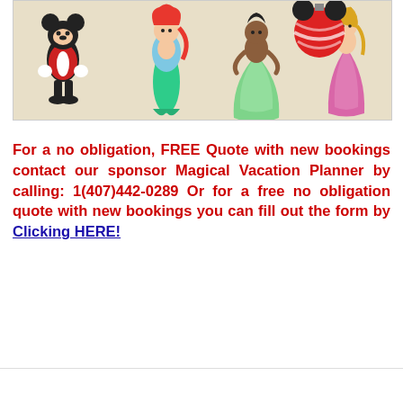[Figure (photo): Disney character enamel pins on a beige background: Mickey Mouse in tuxedo, Ariel the mermaid, Princess Tiana, Aurora/Sleeping Beauty, and a red striped Mickey ears ornament pin.]
For a no obligation, FREE Quote with new bookings contact our sponsor Magical Vacation Planner by calling: 1(407)442-0289 Or for a free no obligation quote with new bookings you can fill out the form by Clicking HERE!